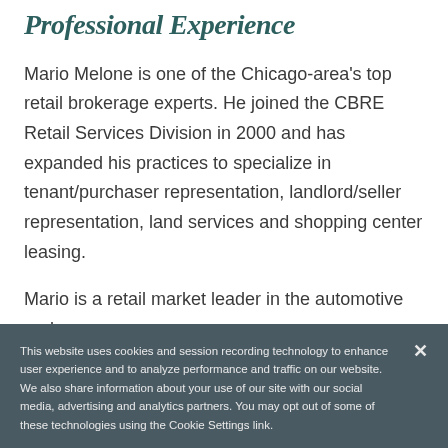Professional Experience
Mario Melone is one of the Chicago-area's top retail brokerage experts. He joined the CBRE Retail Services Division in 2000 and has expanded his practices to specialize in tenant/purchaser representation, landlord/seller representation, land services and shopping center leasing.
Mario is a retail market leader in the automotive and
This website uses cookies and session recording technology to enhance user experience and to analyze performance and traffic on our website. We also share information about your use of our site with our social media, advertising and analytics partners. You may opt out of some of these technologies using the Cookie Settings link.